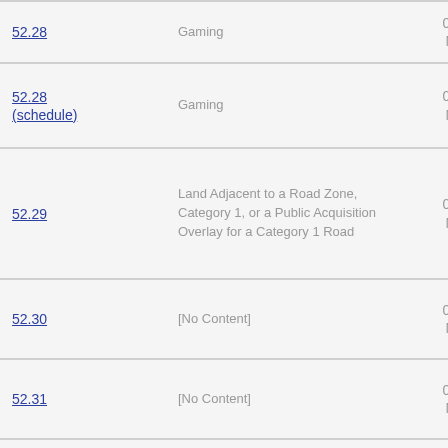| Section | Description | Size |
| --- | --- | --- |
| 52.28 | Gaming | 0.85 MB |
| 52.28 (schedule) | Gaming | 0.86 MB |
| 52.29 | Land Adjacent to a Road Zone, Category 1, or a Public Acquisition Overlay for a Category 1 Road | 0.85 MB |
| 52.30 | [No Content] | 0.74 MB |
| 52.31 | [No Content] | 0.74 MB |
| 52.32 | Wind Energy Facility | 0.31 MB |